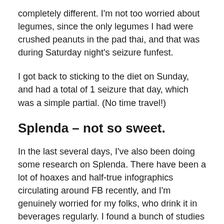completely different. I'm not too worried about legumes, since the only legumes I had were crushed peanuts in the pad thai, and that was during Saturday night's seizure funfest.
I got back to sticking to the diet on Sunday, and had a total of 1 seizure that day, which was a simple partial. (No time travel!)
Splenda – not so sweet.
In the last several days, I've also been doing some research on Splenda. There have been a lot of hoaxes and half-true infographics circulating around FB recently, and I'm genuinely worried for my folks, who drink it in beverages regularly. I found a bunch of studies that claim